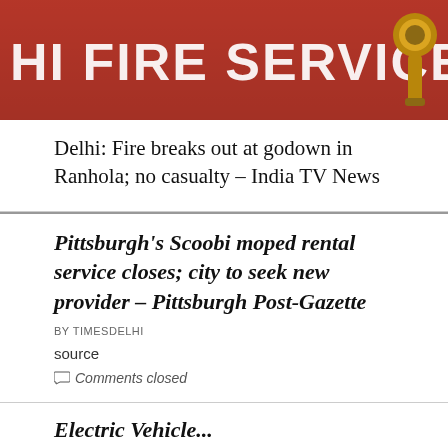[Figure (photo): Red fire truck with 'HI FIRE SERVICE' text and brass fitting visible on the right]
Delhi: Fire breaks out at godown in Ranhola; no casualty – India TV News
Pittsburgh's Scoobi moped rental service closes; city to seek new provider – Pittsburgh Post-Gazette
BY TIMESDELHI
source
Comments closed
Electric Vehicle...